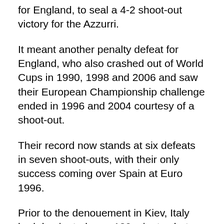for England, to seal a 4-2 shoot-out victory for the Azzurri.
It meant another penalty defeat for England, who also crashed out of World Cups in 1990, 1998 and 2006 and saw their European Championship challenge ended in 1996 and 2004 courtesy of a shoot-out.
Their record now stands at six defeats in seven shoot-outs, with their only success coming over Spain at Euro 1996.
Prior to the denouement in Kiev, Italy had dominated over 120 minutes but spurned a succession of good chances.
Daniele De Rossi and Diamanti both hit the post with shots and Antonio Nocerino had an effort ruled out for offside late in normal time.
England created chances to score in the first half, with Glen Johnson seeing the best of them saved by